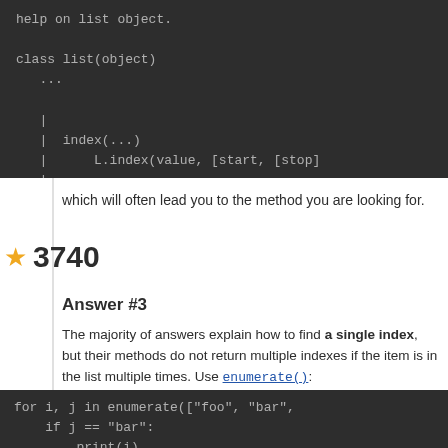[Figure (screenshot): Dark-themed code block showing Python list help output: 'help on list object. class list(object) ... | index(...) | L.index(value, [start, [stop]']
which will often lead you to the method you are looking for.
★ 3740
Answer #3
The majority of answers explain how to find a single index, but their methods do not return multiple indexes if the item is in the list multiple times. Use enumerate():
[Figure (screenshot): Dark-themed code block showing: 'for i, j in enumerate(["foo", "bar", if j == "bar": print(i)']